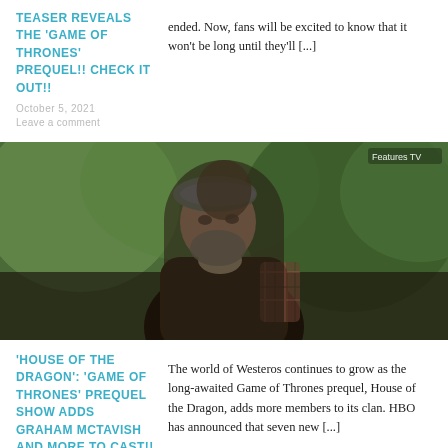TEASER REVEALS THE 'GAME OF THRONES' PREQUEL!! CHECK IT OUT!!
ended. Now, fans will be excited to know that it won't be long until they'll [...]
October 5, 2021
Leave a comment
[Figure (photo): A bearded man wearing a plaid jacket and grey beret, standing outdoors with green foliage in the background. Watermark reads 'Features TV' in top right corner.]
'HOUSE OF THE DRAGON': 'GAME OF THRONES' PREQUEL SHOW ADDS GRAHAM MCTAVISH AND MORE TO CAST!!
The world of Westeros continues to grow as the long-awaited Game of Thrones prequel, House of the Dragon, adds more members to its clan. HBO has announced that seven new [...]
September 27, 2021